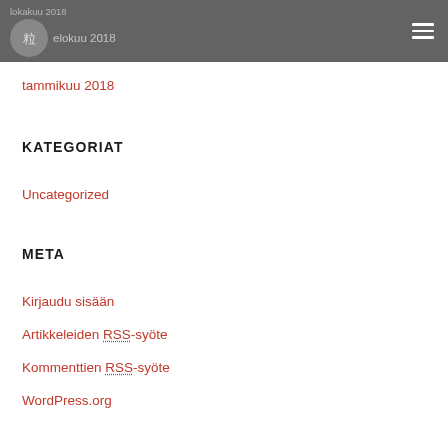lokakuu 2018 / elokuu 2018
tammikuu 2018
KATEGORIAT
Uncategorized
META
Kirjaudu sisään
Artikkeleiden RSS-syöte
Kommenttien RSS-syöte
WordPress.org